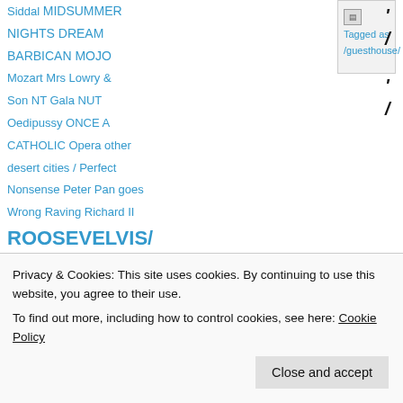Siddal MIDSUMMER NIGHTS DREAM BARBICAN MOJO Mozart Mrs Lowry & Son NT Gala NUT Oedipussy ONCE A CATHOLIC Opera other desert cities / Perfect Nonsense Peter Pan goes Wrong Raving Richard II ROOSEVELVIS/ SATAN SINGS MOSTLY SONDHEIM Southwark Playhouse Stephen Ward / Stick Man STRANGERS ON A TRAIN TARTUFFE
Tagged as /guesthouse/
Privacy & Cookies: This site uses cookies. By continuing to use this website, you agree to their use.
To find out more, including how to control cookies, see here: Cookie Policy
Close and accept